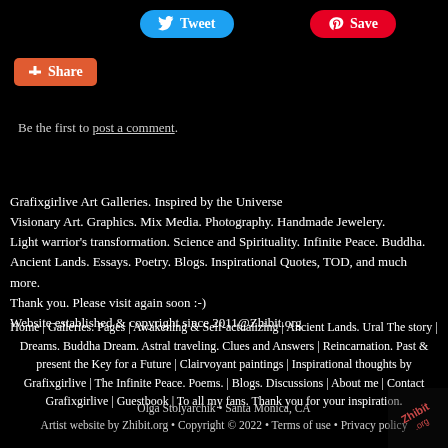[Figure (screenshot): Social sharing buttons: Tweet (blue, Twitter bird icon), Save (red, Pinterest icon), Share (orange-red, plus icon)]
Be the first to post a comment.
Grafixgirlive Art Galleries. Inspired by the Universe
Visionary Art. Graphics. Mix Media. Photography. Handmade Jewelery.
Light warrior's transformation. Science and Spirituality. Infinite Peace. Buddha.
Ancient Lands. Essays. Poetry. Blogs. Inspirational Quotes, TOD, and much more.
Thank you. Please visit again soon :-)
Website established & copyright since 2011@Zhibit.org
Home | Galleries. Pages | Awakening & Self-actualizing | Ancient Lands. Ural The story | Dreams. Buddha Dream. Astral traveling. Clues and Answers | Reincarnation. Past & present the Key for a Future | Clairvoyant paintings | Inspirational thoughts by Grafixgirlive | The Infinite Peace. Poems. | Blogs. Discussions | About me | Contact Grafixgirlive | Guestbook | To all my fans. Thank you for your inspiration.
Olga Stolyarchik • Santa Monica, CA
Artist website by Zhibit.org • Copyright © 2022 • Terms of use • Privacy policy